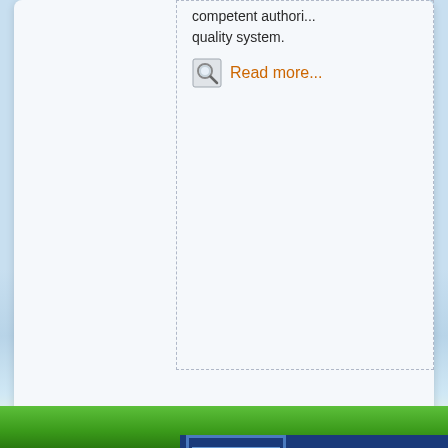competent authori... quality system.
Read more...
[Figure (logo): EU Campaign banner with European flag (circle of yellow stars on blue) and text 'CAMPA... THE RE...' in white bold letters on dark blue background]